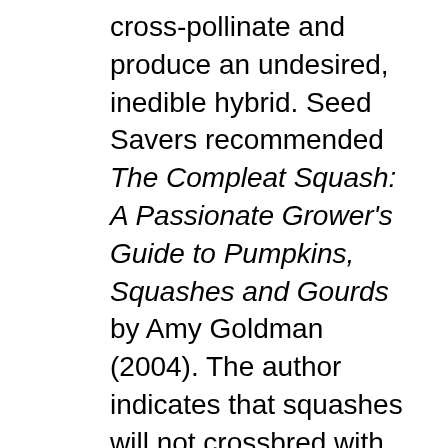cross-pollinate and produce an undesired, inedible hybrid. Seed Savers recommended The Compleat Squash: A Passionate Grower's Guide to Pumpkins, Squashes and Gourds by Amy Goldman (2004). The author indicates that squashes will not crossbred with melons and